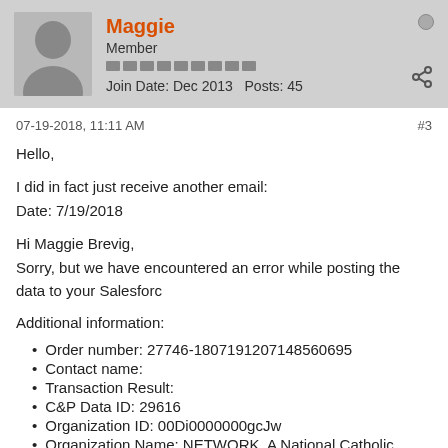Maggie | Member | Join Date: Dec 2013 | Posts: 45
07-19-2018, 11:11 AM #3
Hello,

I did in fact just receive another email:
Date: 7/19/2018

Hi Maggie Brevig,
Sorry, but we have encountered an error while posting the data to your Salesforc

Additional information:
Order number: 27746-1807191207148560695
Contact name:
Transaction Result:
C&P Data ID: 29616
Organization ID: 00Di0000000gcJw
Organization Name: NETWORK, A National Catholic Social Justice Lobby
Applications : Application Name: CnP_PaaS_FM_GravityForm- Version Number3.700.003/WP:v4.9.7/GF:v2.3.2
Installed Packages: 5.1802020005-9.1805150201-5.1804050102
System response:
"Insert failed. First exception on row 0: first error: INACTIVE_OWNER_OR_USE